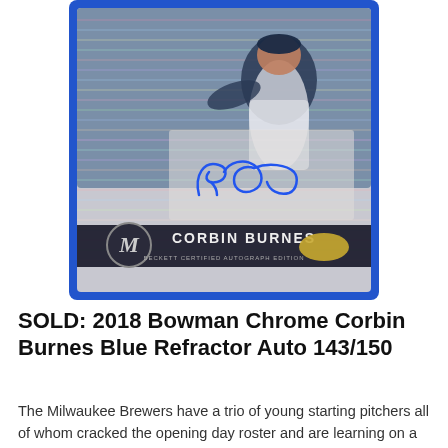[Figure (photo): 2018 Bowman Chrome Corbin Burnes Blue Refractor Auto 143/150 baseball card. The card shows Corbin Burnes of the Milwaukee Brewers in a pitching pose, with a blue refractor border, the Brewers 'M' logo medallion, a blue ink autograph (CB), and 'CORBIN BURNES' printed on the card face.]
SOLD: 2018 Bowman Chrome Corbin Burnes Blue Refractor Auto 143/150
The Milwaukee Brewers have a trio of young starting pitchers all of whom cracked the opening day roster and are learning on a first-place club.